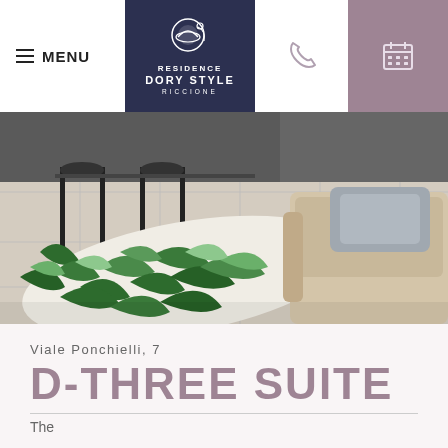MENU | RESIDENCE DORY STYLE RICCIONE | phone icon | calendar icon
[Figure (photo): Interior photo of a residence apartment showing a tropical leaf patterned rug on tiled floor, black chairs around a dining table, and a beige sofa with grey pillow in the foreground.]
Viale Ponchielli, 7
D-THREE SUITE
The...